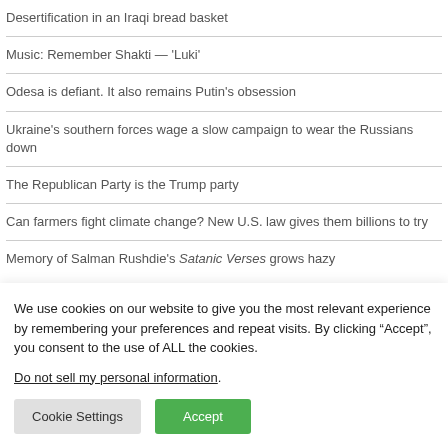Desertification in an Iraqi bread basket
Music: Remember Shakti — 'Luki'
Odesa is defiant. It also remains Putin's obsession
Ukraine's southern forces wage a slow campaign to wear the Russians down
The Republican Party is the Trump party
Can farmers fight climate change? New U.S. law gives them billions to try
Memory of Salman Rushdie's Satanic Verses grows hazy
We use cookies on our website to give you the most relevant experience by remembering your preferences and repeat visits. By clicking “Accept”, you consent to the use of ALL the cookies.
Do not sell my personal information.